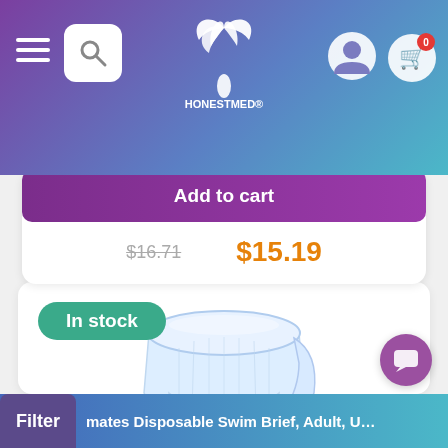[Figure (screenshot): HonestMed website header with hamburger menu, search button, logo, user icon, and shopping cart with 0 items]
Add to cart
$16.71  $15.19
In stock
[Figure (photo): Adult disposable swim brief/pull-up underwear in light blue and white]
Filter  mates Disposable Swim Brief, Adult, Unisex, Lar...